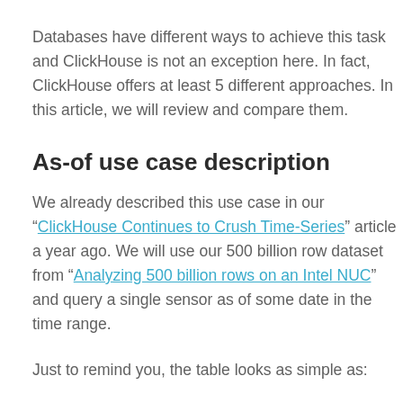Databases have different ways to achieve this task and ClickHouse is not an exception here. In fact, ClickHouse offers at least 5 different approaches. In this article, we will review and compare them.
As-of use case description
We already described this use case in our “ClickHouse Continues to Crush Time-Series” article a year ago. We will use our 500 billion row dataset from “Analyzing 500 billion rows on an Intel NUC” and query a single sensor as of some date in the time range.
Just to remind you, the table looks as simple as: